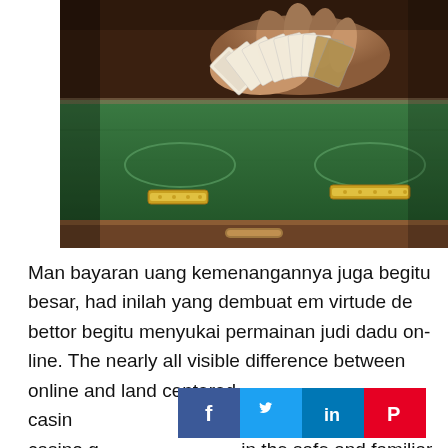[Figure (photo): Close-up photo of hands holding and fanning out a deck of playing cards over a green felt casino table, with casino chips visible.]
Man bayaran uang kemenangannya juga begitu besar, had inilah yang dembuat em virtude de bettor begitu menyukai permainan judi dadu on-line. The nearly all visible difference between online and land centered casin can play their favorite casino games on the computer in the safe and familiar environment of their real estate. If you